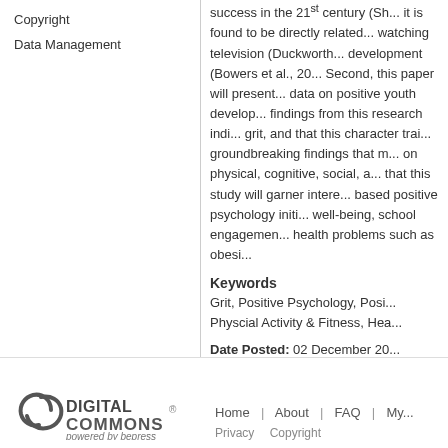Copyright
Data Management
success in the 21st century (Sh... it is found to be directly related... watching television (Duckworth... development (Bowers et al., 20... Second, this paper will present... data on positive youth develop... findings from this research indi... grit, and that this character trai... groundbreaking findings that m... on physical, cognitive, social, a... that this study will garner intere... based positive psychology initi... well-being, school engagemen... health problems such as obesi...
Keywords
Grit, Positive Psychology, Posi... Physcial Activity & Fitness, Hea...
Date Posted: 02 December 20...
[Figure (logo): Digital Commons powered by bepress logo]
Home | About | FAQ | My... Privacy  Copyright